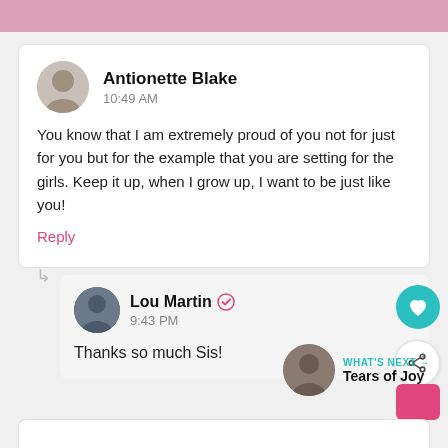Antionette Blake
10:49 AM

You know that I am extremely proud of you not for just for you but for the example that you are setting for the girls. Keep it up, when I grow up, I want to be just like you!
Reply
Lou Martin ✓
9:43 PM

Thanks so much Sis!
WHAT'S NEXT → Tears of Joy